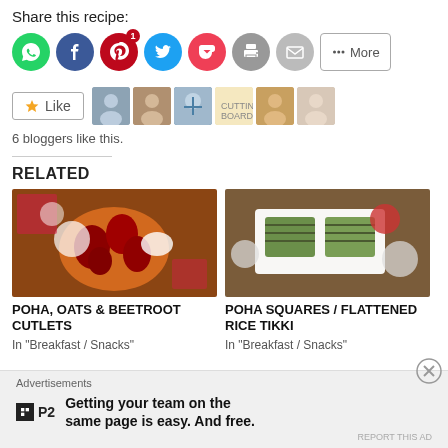Share this recipe:
[Figure (other): Social sharing buttons: WhatsApp (green), Facebook (blue), Pinterest (red with badge 1), Twitter (light blue), Pocket (pink-red), Print (grey), Email (grey), More button]
[Figure (other): Like button with star icon and 6 blogger avatar thumbnails]
6 bloggers like this.
RELATED
[Figure (photo): Heart-shaped beetroot cutlets on a wooden board with white heart-shaped dipping bowls]
POHA, OATS & BEETROOT CUTLETS
In "Breakfast / Snacks"
[Figure (photo): Grilled poha squares on a white rectangular plate with condiment bowls]
POHA SQUARES / FLATTENED RICE TIKKI
In "Breakfast / Snacks"
Advertisements
Getting your team on the same page is easy. And free.